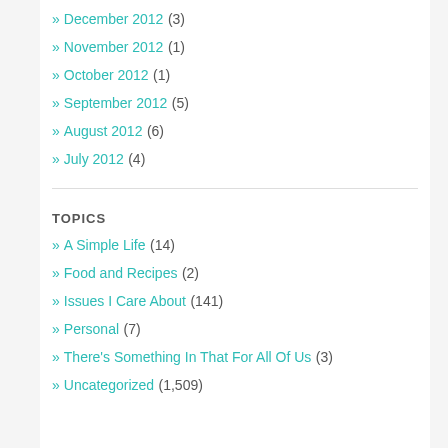» December 2012 (3)
» November 2012 (1)
» October 2012 (1)
» September 2012 (5)
» August 2012 (6)
» July 2012 (4)
TOPICS
» A Simple Life (14)
» Food and Recipes (2)
» Issues I Care About (141)
» Personal (7)
» There's Something In That For All Of Us (3)
» Uncategorized (1,509)